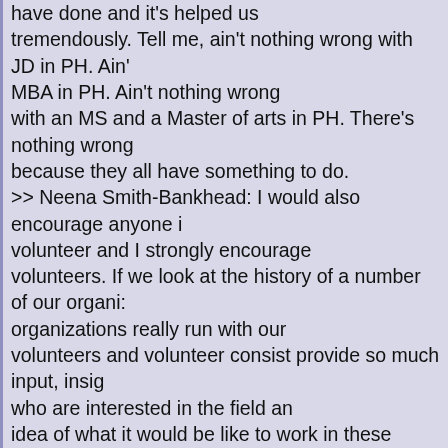have done and it's helped us tremendously. Tell me, ain't nothing wrong with JD in PH. Ain't MBA in PH. Ain't nothing wrong with an MS and a Master of arts in PH. There's nothing wrong because they all have something to do. >> Neena Smith-Bankhead: I would also encourage anyone i volunteer and I strongly encourage volunteers. If we look at the history of a number of our organi organizations really run with our volunteers and volunteer consist provide so much input, insig who are interested in the field an idea of what it would be like to work in these fields. A lot of people who volunteer, didn't know some of the opport mentioned even exist in public health before they started working with an agency and I just think ab started as volunteers and then became full-time staff and some of them weren't in the field o were in a number of different fields. So I definitely encourage anyone interested to the staff, the issues, the agencies, the communities and it can definitely be life changi